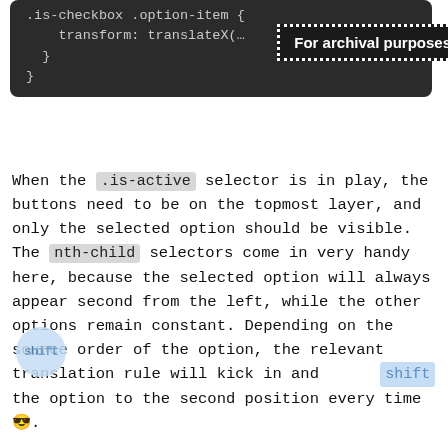[Figure (screenshot): Dark-themed code block showing CSS with transform: translateX( and closing braces, with a tooltip overlay reading 'For archival purposes']
When the .is-active selector is in play, the buttons need to be on the topmost layer, and only the selected option should be visible. The nth-child selectors come in very handy here, because the selected option will always appear second from the left, while the other options remain constant. Depending on the source order of the option, the relevant translation rule will kick in and shift the option to the second position every time 😎.